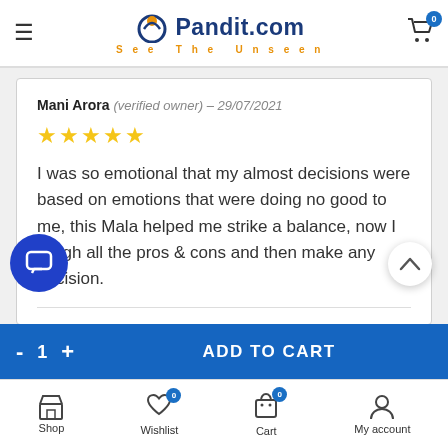Pandit.com — See The Unseen
Mani Arora (verified owner) – 29/07/2021
★★★★★
I was so emotional that my almost decisions were based on emotions that were doing no good to me, this Mala helped me strike a balance, now I weigh all the pros & cons and then make any decision.
ADD TO CART | Shop | Wishlist 0 | Cart 0 | My account